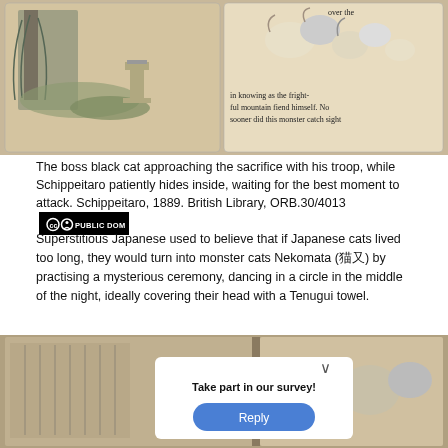[Figure (illustration): Two illustrated pages from a vintage book: left page shows a Japanese garden scene with willow trees and a stone structure; right page shows cats running/fleeing and text reading 'over the', 'in knowing as the fright-ful mountain fiend himself. No sooner did this monster catch sight']
The boss black cat approaching the sacrifice with his troop, while Schippeitaro patiently hides inside, waiting for the best moment to attack. Schippeitaro, 1889. British Library, ORB.30/4013 [CC PUBLIC DOMAIN]
Superstitious Japanese used to believe that if Japanese cats lived too long, they would turn into monster cats Nekomata (猫又) by practising a mysterious ceremony, dancing in a circle in the middle of the night, ideally covering their head with a Tenugui towel.
[Figure (screenshot): Bottom of page showing a vintage Japanese illustrated book page partially obscured by a survey popup dialog with the text 'Take part in our survey!' and a blue 'Reply' button, with a chevron/close icon at top right of the popup.]